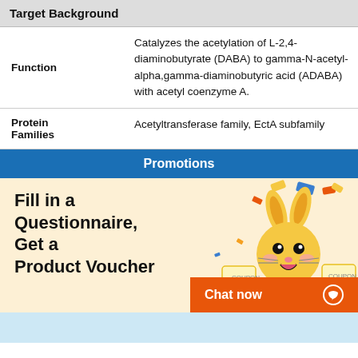Target Background
| Function | Catalyzes the acetylation of L-2,4-diaminobutyrate (DABA) to gamma-N-acetyl-alpha,gamma-diaminobutyric acid (ADABA) with acetyl coenzyme A. |
| Protein Families | Acetyltransferase family, EctA subfamily |
Promotions
[Figure (illustration): Promotional banner with text 'Fill in a Questionnaire, Get a Product Voucher' and a cartoon yellow bunny character surrounded by coupons and dollar signs on a cream background.]
Chat now